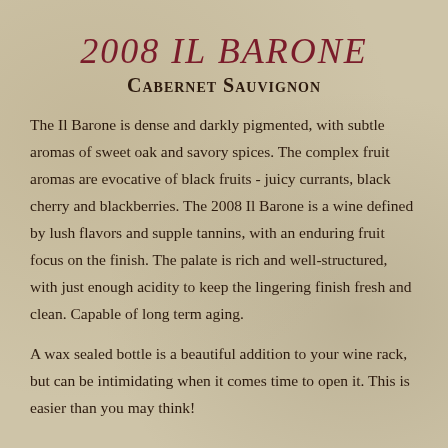2008 IL BARONE
Cabernet Sauvignon
The Il Barone is dense and darkly pigmented, with subtle aromas of sweet oak and savory spices. The complex fruit aromas are evocative of black fruits - juicy currants, black cherry and blackberries. The 2008 Il Barone is a wine defined by lush flavors and supple tannins, with an enduring fruit focus on the finish. The palate is rich and well-structured, with just enough acidity to keep the lingering finish fresh and clean. Capable of long term aging.
A wax sealed bottle is a beautiful addition to your wine rack, but can be intimidating when it comes time to open it.  This is easier than you may think!